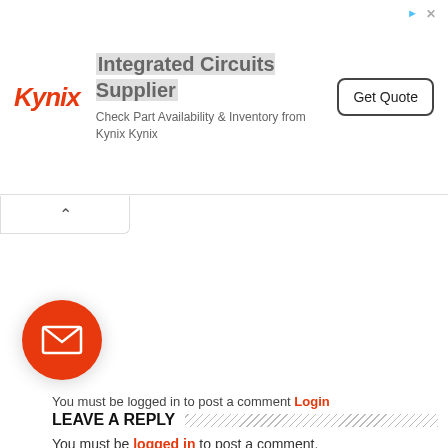[Figure (other): Kynix advertisement banner: Kynix logo, 'Integrated Circuits Supplier', 'Check Part Availability & Inventory from Kynix Kynix', and 'Get Quote' button]
[Figure (other): Red circular mail/envelope icon]
You must be logged in to post a comment Login
LEAVE A REPLY
You must be logged in to post a comment.
SERVICES